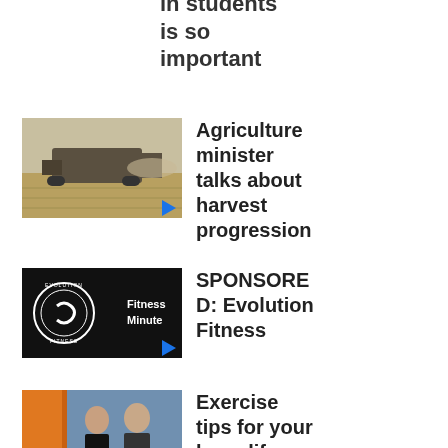in students is so important
[Figure (photo): Agricultural harvester combine working in a dusty field]
Agriculture minister talks about harvest progression
[Figure (logo): Evolution Fitness logo with Fitness Minute text on dark background]
SPONSORED: Evolution Fitness
[Figure (photo): Two women in a TV studio setting]
Exercise tips for your busy life